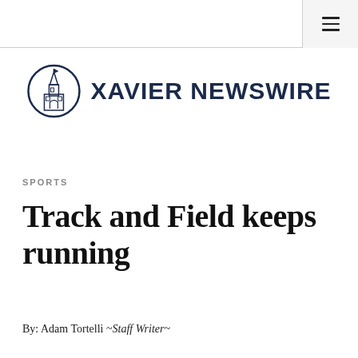[Figure (logo): Xavier Newswire logo with circular tower illustration and bold text]
SPORTS
Track and Field keeps running
By: Adam Tortelli ~Staff Writer~